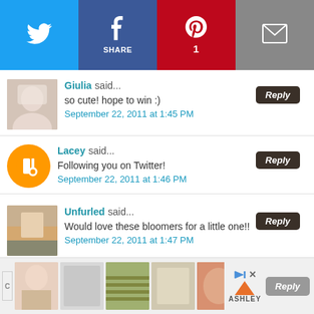[Figure (screenshot): Social sharing bar with Twitter, Facebook, Pinterest (count: 1), and Email buttons]
Giulia said... so cute! hope to win :)
September 22, 2011 at 1:45 PM
Lacey said... Following you on Twitter!
September 22, 2011 at 1:46 PM
Unfurled said... Would love these bloomers for a little one!!
September 22, 2011 at 1:47 PM
[Figure (screenshot): Advertisement banner with multiple product images and Ashley brand logo]